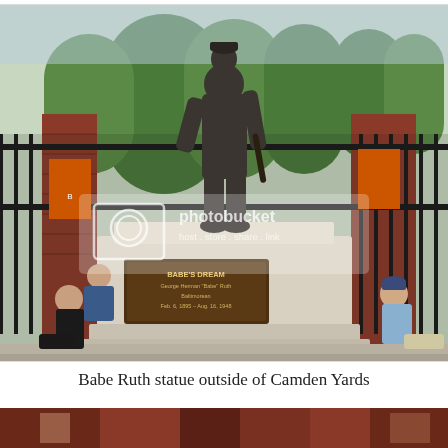[Figure (photo): Photograph of the Babe Ruth 'Babe's Dream' statue on a large stone pedestal outside Camden Yards baseball stadium in Baltimore. The bronze statue stands atop a white granite base with a plaque reading 'BABE'S DREAM / George Herman Babe Ruth / Baltimorean / Feb. 6, 1895 – Aug. 16, 1948'. People are sitting around the base of the statue. Brick pillars and black iron gates are visible in the background along with green trees and orange Orioles banners. A Photobucket watermark is overlaid on the image.]
Babe Ruth statue outside of Camden Yards
[Figure (photo): Partial bottom strip of another photograph, partially cut off at the bottom edge of the page.]